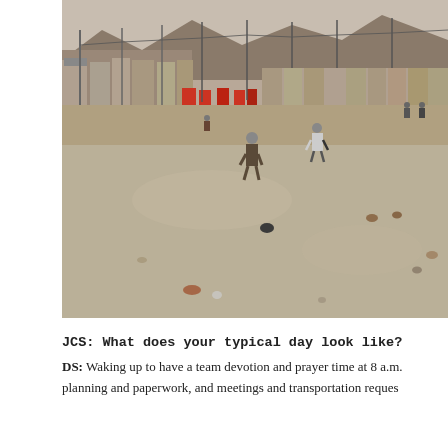[Figure (photo): Outdoor photo of a large dusty open area, possibly a refugee camp or military compound. Several people walking across a barren gravel/dirt field. Red containers and makeshift structures along the left side. Mountains visible in the background.]
JCS: What does your typical day look like?
DS: Waking up to have a team devotion and prayer time at 8 a.m. planning and paperwork, and meetings and transportation reques...